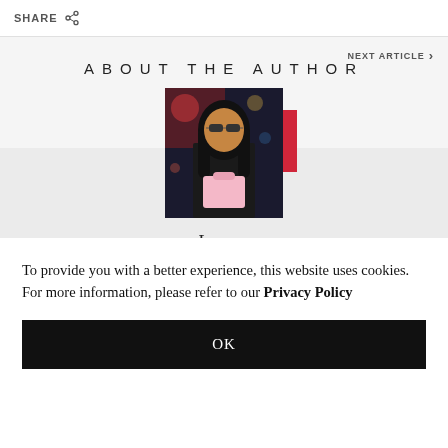SHARE
NEXT ARTICLE ›
ABOUT THE AUTHOR
[Figure (photo): Portrait photo of Lauren, a young woman with long dark hair, wearing sunglasses and a black jacket, holding a light pink bag, outdoors at night with lights in background. A red accent rectangle overlaps the top-right corner of the photo.]
Lauren
To provide you with a better experience, this website uses cookies. For more information, please refer to our Privacy Policy
OK